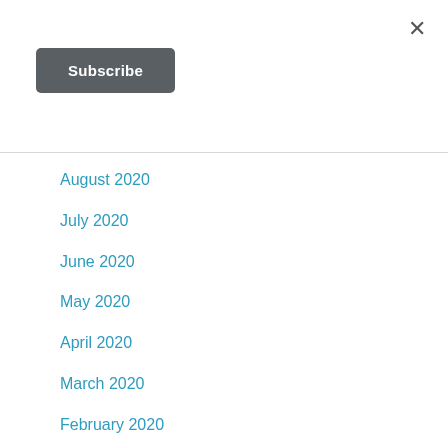×
Subscribe
August 2020
July 2020
June 2020
May 2020
April 2020
March 2020
February 2020
January 2020